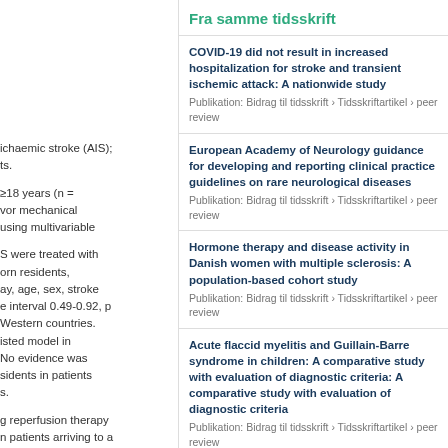ichaemic stroke (AIS); ts.
≥18 years (n =
vor mechanical
using multivariable

S were treated with
orn residents,
ay, age, sex, stroke
e interval 0.49-0.92, p
Western countries.
isted model in
No evidence was
sidents in patients
s.

g reperfusion therapy
n patients arriving to a
Fra samme tidsskrift
COVID-19 did not result in increased hospitalization for stroke and transient ischemic attack: A nationwide study
Publikation: Bidrag til tidsskrift › Tidsskriftartikel › peer review
European Academy of Neurology guidance for developing and reporting clinical practice guidelines on rare neurological diseases
Publikation: Bidrag til tidsskrift › Tidsskriftartikel › peer review
Hormone therapy and disease activity in Danish women with multiple sclerosis: A population-based cohort study
Publikation: Bidrag til tidsskrift › Tidsskriftartikel › peer review
Acute flaccid myelitis and Guillain-Barre syndrome in children: A comparative study with evaluation of diagnostic criteria: A comparative study with evaluation of diagnostic criteria
Publikation: Bidrag til tidsskrift › Tidsskriftartikel › peer review
Ocrelizumab treatment in multiple sclerosis: A Danish population-based cohort study
Publikation: Bidrag til tidsskrift › Tidsskriftartikel › peer review